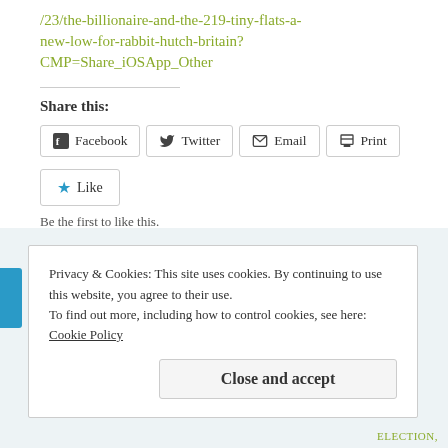/23/the-billionaire-and-the-219-tiny-flats-a-new-low-for-rabbit-hutch-britain?CMP=Share_iOSApp_Other
Share this:
Facebook  Twitter  Email  Print
Like
Be the first to like this.
Privacy & Cookies: This site uses cookies. By continuing to use this website, you agree to their use. To find out more, including how to control cookies, see here: Cookie Policy
Close and accept
ELECTION,